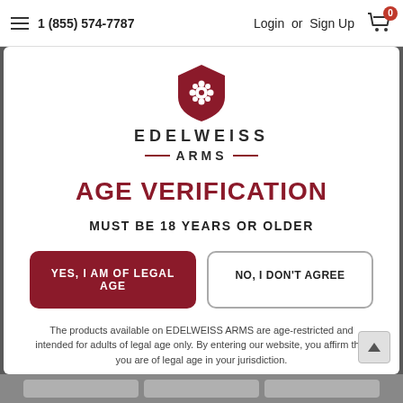1 (855) 574-7787  Login or Sign Up  0
[Figure (logo): Edelweiss Arms shield logo with flower emblem]
EDELWEISS ARMS
AGE VERIFICATION
MUST BE 18 YEARS OR OLDER
YES, I AM OF LEGAL AGE
NO, I DON'T AGREE
The products available on EDELWEISS ARMS are age-restricted and intended for adults of legal age only. By entering our website, you affirm that you are of legal age in your jurisdiction.